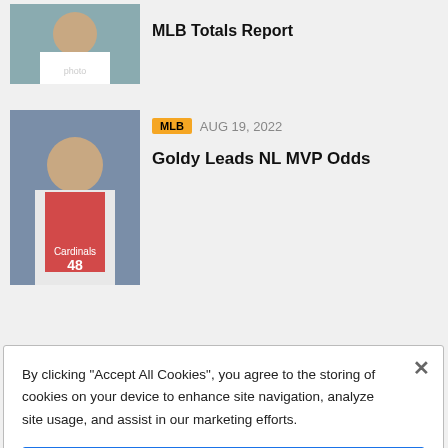[Figure (photo): Baseball player photo (pitcher) for MLB Totals Report article]
MLB Totals Report
[Figure (photo): St. Louis Cardinals player #48 photo for Goldy Leads NL MVP Odds article]
MLB   AUG 19, 2022
Goldy Leads NL MVP Odds
By clicking “Accept All Cookies”, you agree to the storing of cookies on your device to enhance site navigation, analyze site usage, and assist in our marketing efforts.
Cookies Settings
Reject All
Accept All Cookies